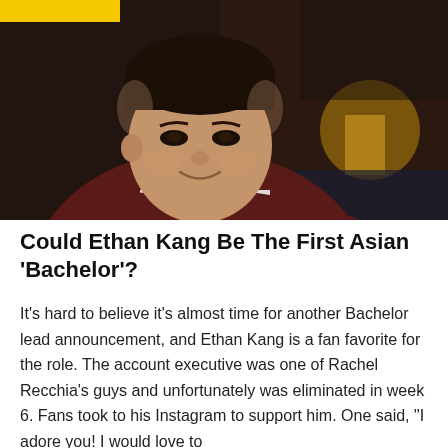[Figure (photo): A young Asian man smiling, wearing a dark maroon blazer over a white shirt, photographed indoors with a warm blurred background including what appears to be an amber-colored lamp.]
Could Ethan Kang Be The First Asian 'Bachelor'?
It's hard to believe it's almost time for another Bachelor lead announcement, and Ethan Kang is a fan favorite for the role. The account executive was one of Rachel Recchia's guys and unfortunately was eliminated in week 6. Fans took to his Instagram to support him. One said, "I adore you! I would love to